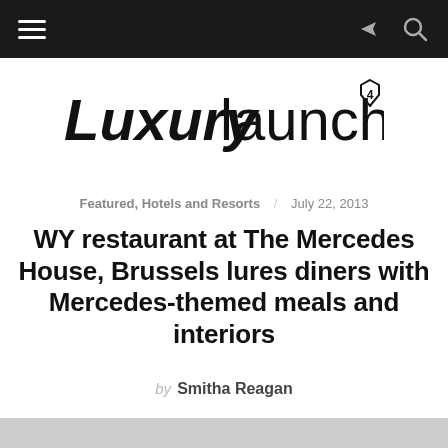Navigation bar with hamburger menu and share/search icons
[Figure (logo): Luxurylaunches logo with diamond badge icon]
Featured, Hotels and Resorts / July 22, 2013
WY restaurant at The Mercedes House, Brussels lures diners with Mercedes-themed meals and interiors
by Smitha Reagan